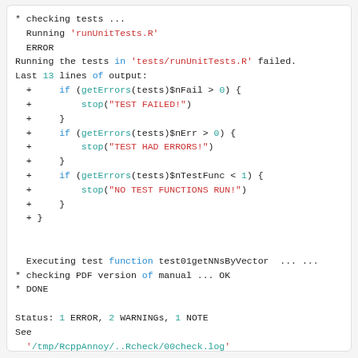* checking tests ...
  Running 'runUnitTests.R'
  ERROR
Running the tests in 'tests/runUnitTests.R' failed.
Last 13 lines of output:
  +     if (getErrors(tests)$nFail > 0) {
  +         stop("TEST FAILED!")
  +     }
  +     if (getErrors(tests)$nErr > 0) {
  +         stop("TEST HAD ERRORS!")
  +     }
  +     if (getErrors(tests)$nTestFunc < 1) {
  +         stop("NO TEST FUNCTIONS RUN!")
  +     }
  + }

  Executing test function test01getNNsByVector  ... ...
* checking PDF version of manual ... OK
* DONE

Status: 1 ERROR, 2 WARNINGs, 1 NOTE
See
  '/tmp/RcppAnnoy/..Rcheck/00check.log'
for details.
root@a7687c014e55:/tmp/RcppAnnoy#